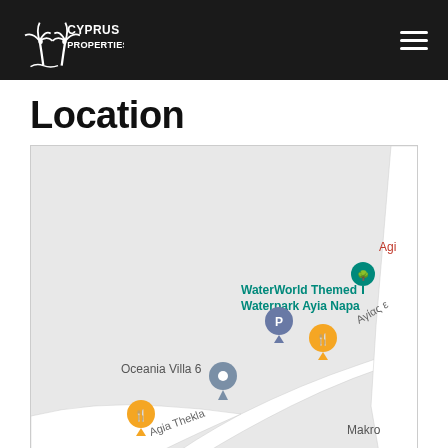Cyprus Properties
Location
[Figure (map): Google Maps screenshot showing WaterWorld Themed Waterpark Ayia Napa, a parking marker (P), a restaurant marker, Oceania Villa 6 location pin, another restaurant marker near Agia Thekla road, road labels including Αγίας and Agia Thekla, and partial text 'Agi' and 'Makro' at the edges.]